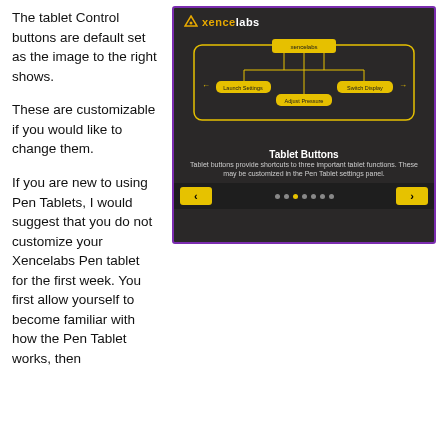The tablet Control buttons are default set as the image to the right shows.
These are customizable if you would like to change them.
[Figure (screenshot): Screenshot of Xencelabs software showing a diagram of Tablet Buttons with three labeled buttons: Launch Settings, Adjust Pressure, Switch Display. Navigation dots and arrow buttons at bottom.]
If you are new to using Pen Tablets, I would suggest that you do not customize your Xencelabs Pen tablet for the first week. You first allow yourself to become familiar with how the Pen Tablet works, then